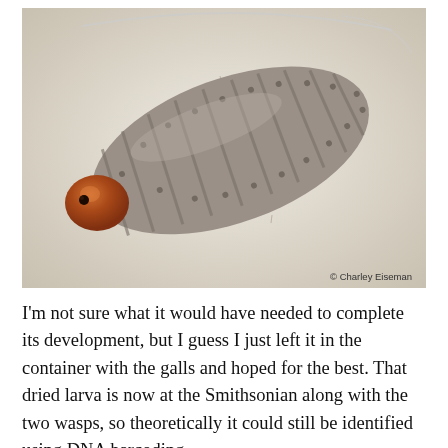[Figure (photo): Close-up photograph of a larva (grub) with a gray-brown segmented body covered in small bumps/dots, and a distinct orange-brown head capsule. The larva is photographed on a white/light background. Photo credit: © Charley Eiseman.]
I'm not sure what it would have needed to complete its development, but I guess I just left it in the container with the galls and hoped for the best. That dried larva is now at the Smithsonian along with the two wasps, so theoretically it could still be identified using DNA barcoding.
On September 21, 2019, I was leading a walk at the